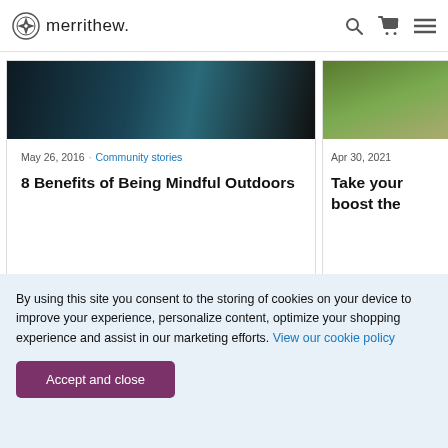merrithew.
[Figure (screenshot): Article card image — dark outdoor/nature photo (partial, cropped at top)]
May 26, 2016 · Community stories
8 Benefits of Being Mindful Outdoors
[Figure (screenshot): Second article card image — green outdoor/nature photo (partial, cropped)]
Apr 30, 2021
Take your boost the
By using this site you consent to the storing of cookies on your device to improve your experience, personalize content, optimize your shopping experience and assist in our marketing efforts. View our cookie policy
Accept and close